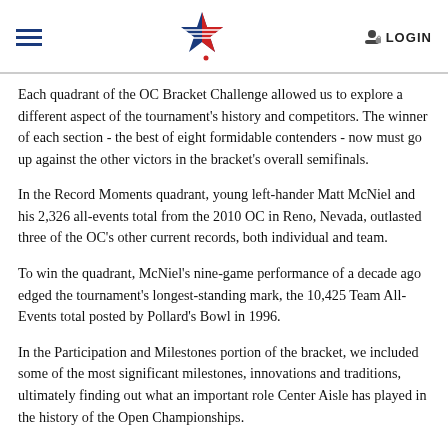LOGIN
Each quadrant of the OC Bracket Challenge allowed us to explore a different aspect of the tournament's history and competitors. The winner of each section - the best of eight formidable contenders - now must go up against the other victors in the bracket's overall semifinals.
In the Record Moments quadrant, young left-hander Matt McNiel and his 2,326 all-events total from the 2010 OC in Reno, Nevada, outlasted three of the OC's other current records, both individual and team.
To win the quadrant, McNiel's nine-game performance of a decade ago edged the tournament's longest-standing mark, the 10,425 Team All-Events total posted by Pollard's Bowl in 1996.
In the Participation and Milestones portion of the bracket, we included some of the most significant milestones, innovations and traditions, ultimately finding out what an important role Center Aisle has played in the history of the Open Championships.